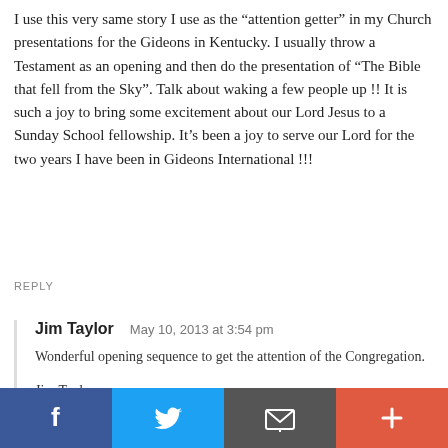I use this very same story I use as the “attention getter” in my Church presentations for the Gideons in Kentucky. I usually throw a Testament as an opening and then do the presentation of “The Bible that fell from the Sky”. Talk about waking a few people up !! It is such a joy to bring some excitement about our Lord Jesus to a Sunday School fellowship. It’s been a joy to serve our Lord for the two years I have been in Gideons International !!!
REPLY
Jim Taylor   May 10, 2013 at 3:54 pm
Wonderful opening sequence to get the attention of the Congregation.

Jim Taylor

REPLY
Jim Campbell   March 30, 2012 at 2:41 pm
[Figure (infographic): Social sharing bar with four buttons: Facebook (blue), Twitter (light blue), Email/envelope (dark gray), and Plus/more (orange-red)]